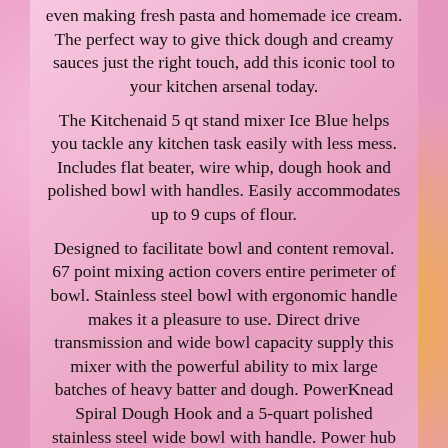even making fresh pasta and homemade ice cream. The perfect way to give thick dough and creamy sauces just the right touch, add this iconic tool to your kitchen arsenal today.
The Kitchenaid 5 qt stand mixer Ice Blue helps you tackle any kitchen task easily with less mess. Includes flat beater, wire whip, dough hook and polished bowl with handles. Easily accommodates up to 9 cups of flour.
Designed to facilitate bowl and content removal. 67 point mixing action covers entire perimeter of bowl. Stainless steel bowl with ergonomic handle makes it a pleasure to use. Direct drive transmission and wide bowl capacity supply this mixer with the powerful ability to mix large batches of heavy batter and dough. PowerKnead Spiral Dough Hook and a 5-quart polished stainless steel wide bowl with handle. Power hub lets you use any optional KitchenAid attachment. 3 wire cord, US 3 prong plug, 110 volts. Available in Ice Blue color to compliment any motif.
The item "Brand New KitchenAid 5 Qt. Pro Plus Stand Mixer KV25GOXIC Ice Blue" is in sale since Friday, November 29, 2019. This item is in the category "Home & Garden\Kitchen, Dining & Bar\Small Kitchen Appliances\Countertop Mixers".
The seller is "marol9874" and is located in Framingham...